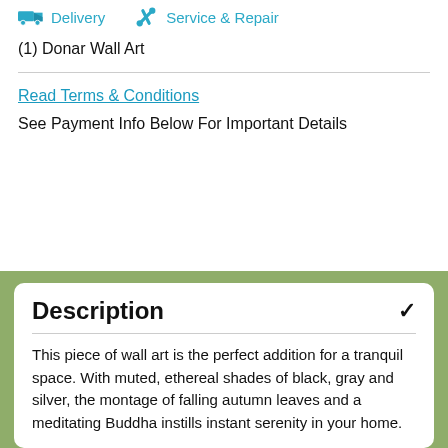[Figure (infographic): Two teal icons: a delivery truck icon with label 'Delivery' and a wrench/tool icon with label 'Service & Repair']
(1) Donar Wall Art
Read Terms & Conditions
See Payment Info Below For Important Details
Description
This piece of wall art is the perfect addition for a tranquil space. With muted, ethereal shades of black, gray and silver, the montage of falling autumn leaves and a meditating Buddha instills instant serenity in your home.